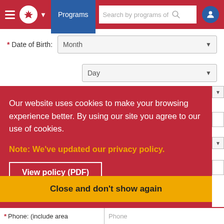Programs | Search by programs of | [user icon]
* Date of Birth:  Month ▼
Day ▼
Our website uses cookies to make your browsing experience better. By using our site you agree to our use of cookies.
Note: We've updated our privacy policy.
View policy (PDF)
Close and don't show again
* Phone: (include area   Phone